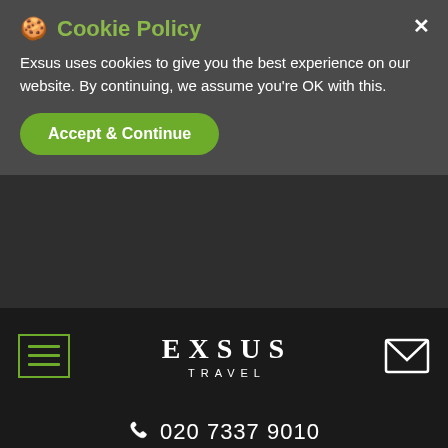🍪 Cookie Policy
Exsus uses cookies to give you the best experience on our website. By continuing, we assume you're OK with this.
Accept & Continue
[Figure (logo): EXSUS TRAVEL logo in white serif letters on black background with hamburger menu icon and envelope/mail icon]
☎ 020 7337 9010
gardens.
FOOD AND FACILITIES
Sukhothai's award-winning restaurant, Celadon, is widely considered to be among the best places to dine in Bangkok. Perched out in a beautiful lotus pond, with open-air terraces